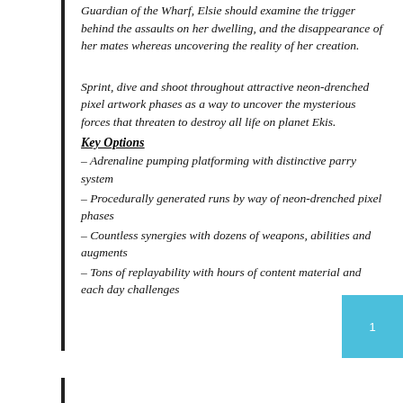Guardian of the Wharf, Elsie should examine the trigger behind the assaults on her dwelling, and the disappearance of her mates whereas uncovering the reality of her creation.
Sprint, dive and shoot throughout attractive neon-drenched pixel artwork phases as a way to uncover the mysterious forces that threaten to destroy all life on planet Ekis.
Key Options
– Adrenaline pumping platforming with distinctive parry system
– Procedurally generated runs by way of neon-drenched pixel phases
– Countless synergies with dozens of weapons, abilities and augments
– Tons of replayability with hours of content material and each day challenges
1